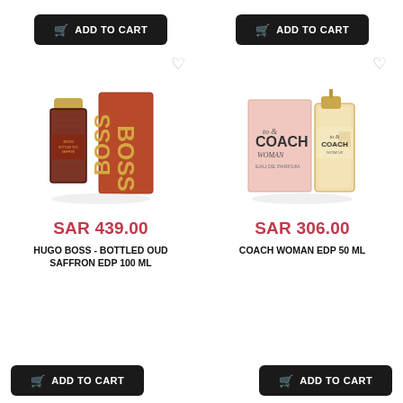[Figure (other): Add to Cart button (top left) - black rounded button with shopping cart icon]
[Figure (other): Add to Cart button (top right) - black rounded button with shopping cart icon]
[Figure (photo): Hugo Boss Bottled Oud Saffron EDP 100ML perfume bottle and box in dark red/amber color]
[Figure (photo): Coach Woman EDP 50ML perfume bottle and pink box]
SAR 439.00
SAR 306.00
HUGO BOSS - BOTTLED OUD SAFFRON EDP 100 ML
COACH WOMAN EDP 50 ML
[Figure (other): Add to Cart button (bottom left) - black rounded button with shopping cart icon]
[Figure (other): Add to Cart button (bottom right) - black rounded button with shopping cart icon]